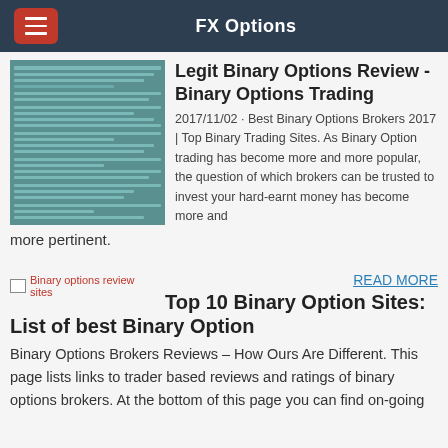FX Options
[Figure (screenshot): Screenshot of a webpage with teal/dark green background showing text content about binary options]
Legit Binary Options Review - Binary Options Trading
2017/11/02 · Best Binary Options Brokers 2017 | Top Binary Trading Sites. As Binary Option trading has become more and more popular, the question of which brokers can be trusted to invest your hard-earnt money has become more and more pertinent.
[Figure (other): Broken image placeholder labeled 'Binary options review sites']
READ MORE
Top 10 Binary Option Sites: List of best Binary Option
Binary Options Brokers Reviews – How Ours Are Different. This page lists links to trader based reviews and ratings of binary options brokers. At the bottom of this page you can find on-going